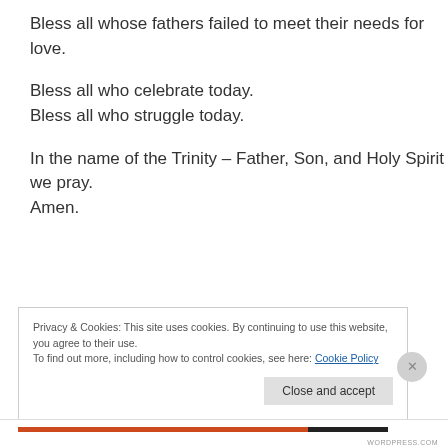Bless all whose fathers failed to meet their needs for love.
Bless all who celebrate today.
Bless all who struggle today.
In the name of the Trinity – Father, Son, and Holy Spirit – we pray.
Amen.
Privacy & Cookies: This site uses cookies. By continuing to use this website, you agree to their use.
To find out more, including how to control cookies, see here: Cookie Policy
Close and accept